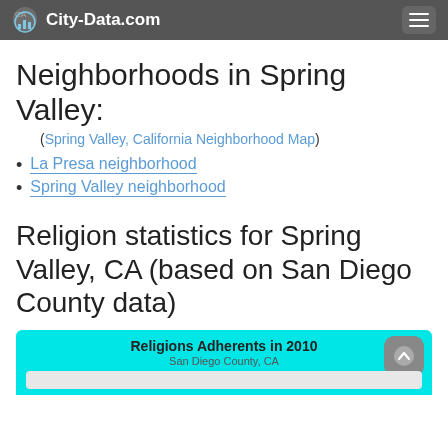City-Data.com
Neighborhoods in Spring Valley:
(Spring Valley, California Neighborhood Map)
La Presa neighborhood
Spring Valley neighborhood
Religion statistics for Spring Valley, CA (based on San Diego County data)
[Figure (bar-chart): San Diego County, CA - bar chart of religion adherents in 2010, partially visible]